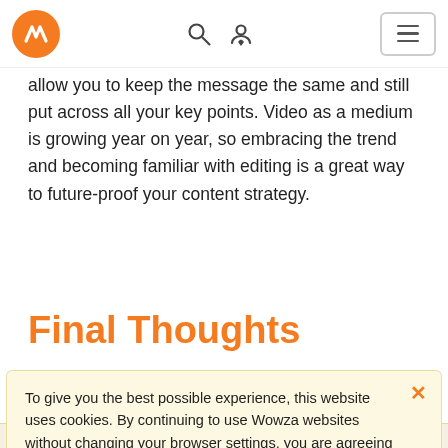[Figure (screenshot): Wowza website navigation bar with orange logo, search icon, user/location icon, and hamburger menu]
allow you to keep the message the same and still put across all your key points. Video as a medium is growing year on year, so embracing the trend and becoming familiar with editing is a great way to future-proof your content strategy.
Final Thoughts
To give you the best possible experience, this website uses cookies. By continuing to use Wowza websites without changing your browser settings, you are agreeing to our use of cookies.

I agree | Learn more about our cookies policy.